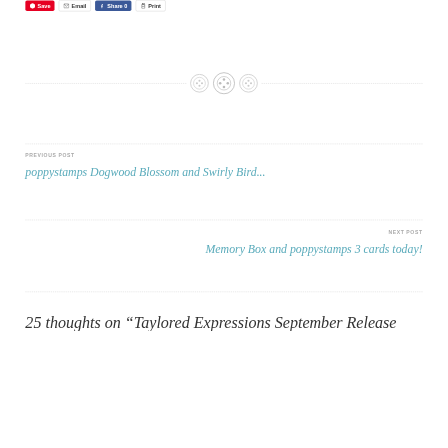[Figure (screenshot): Social sharing buttons: Save (Pinterest, red), Email (with envelope icon), Share 0 (Facebook, blue), Print (with printer icon)]
[Figure (illustration): Decorative divider with three button/flower icons on a dashed horizontal line]
PREVIOUS POST
poppystamps Dogwood Blossom and Swirly Bird...
NEXT POST
Memory Box and poppystamps 3 cards today!
25 thoughts on “Taylored Expressions September Release